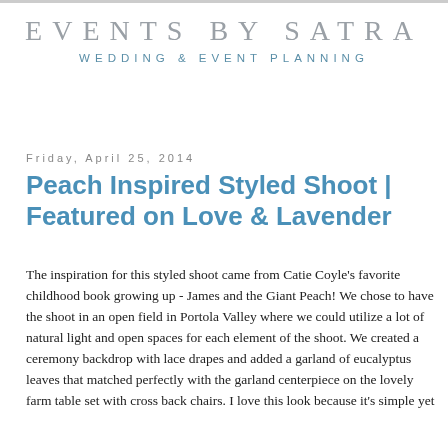EVENTS BY SATRA
WEDDING & EVENT PLANNING
Friday, April 25, 2014
Peach Inspired Styled Shoot | Featured on Love & Lavender
The inspiration for this styled shoot came from Catie Coyle's favorite childhood book growing up - James and the Giant Peach! We chose to have the shoot in an open field in Portola Valley where we could utilize a lot of natural light and open spaces for each element of the shoot. We created a ceremony backdrop with lace drapes and added a garland of eucalyptus leaves that matched perfectly with the garland centerpiece on the lovely farm table set with cross back chairs. I love this look because it's simple yet...